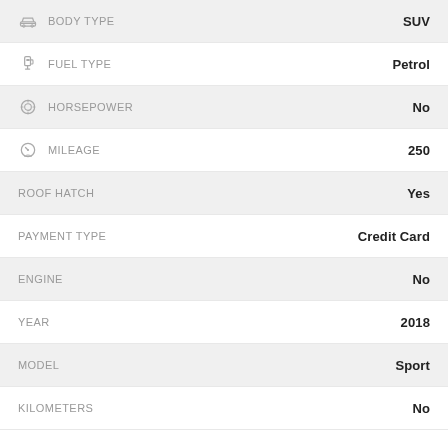| Attribute | Value |
| --- | --- |
| BODY TYPE | SUV |
| FUEL TYPE | Petrol |
| HORSEPOWER | No |
| MILEAGE | 250 |
| ROOF HATCH | Yes |
| PAYMENT TYPE | Credit Card |
| ENGINE | No |
| YEAR | 2018 |
| MODEL | Sport |
| KILOMETERS | No |
Car options
| Option | Value |
| --- | --- |
| APPLE CARPLAY / ANDROID AUTO | Yes |
| CRUISE CONTROL | Yes |